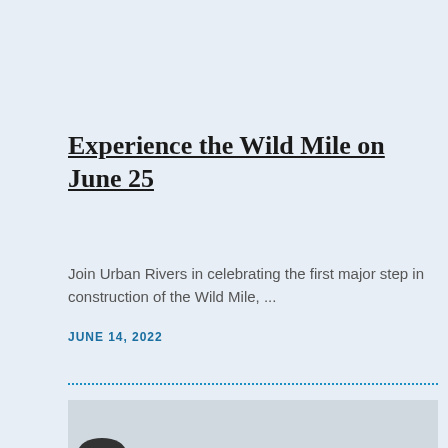Experience the Wild Mile on June 25
Join Urban Rivers in celebrating the first major step in construction of the Wild Mile, ...
JUNE 14, 2022
[Figure (photo): Exterior photo of a building with an 'eden' circular sign, string lights hanging across, and a dark lower facade panel.]